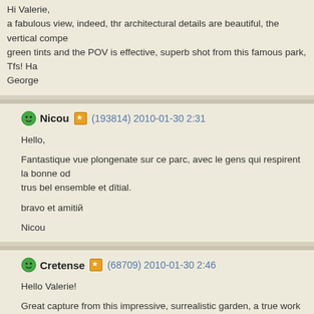Hi Valerie,
a fabulous view, indeed, thr architectural details are beautiful, the vertical compe green tints and the POV is effective, superb shot from this famous park, Tfs! Ha George
Nicou (193814) 2010-01-30 2:31

Hello,

Fantastique vue plongenate sur ce parc, avec le gens qui respirent la bonne od trus bel ensemble et dïtial.

bravo et amitiй

Nicou
Cretense (68709) 2010-01-30 2:46

Hello Valerie!

Great capture from this impressive, surrealistic garden, a true work of art and a Great POV, framing and composition, flawless light management and beautiful c

Hercules